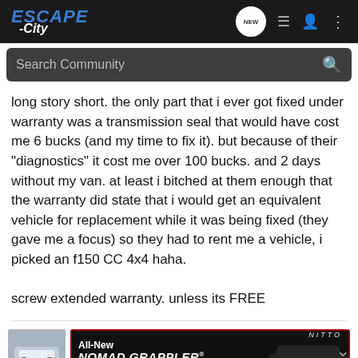ESCAPE -City [navigation bar with NEW, list, user, menu icons]
Search Community
long story short. the only part that i ever got fixed under warranty was a transmission seal that would have cost me 6 bucks (and my time to fix it). but because of their "diagnostics" it cost me over 100 bucks. and 2 days without my van. at least i bitched at them enough that the warranty did state that i would get an equivalent vehicle for replacement while it was being fixed (they gave me a focus) so they had to rent me a vehicle, i picked an f150 CC 4x4 haha.

screw extended warranty. unless its FREE
[Figure (screenshot): Nitto Nomad Grappler Crossover-Terrain Tire advertisement banner with a car thumbnail on the left]